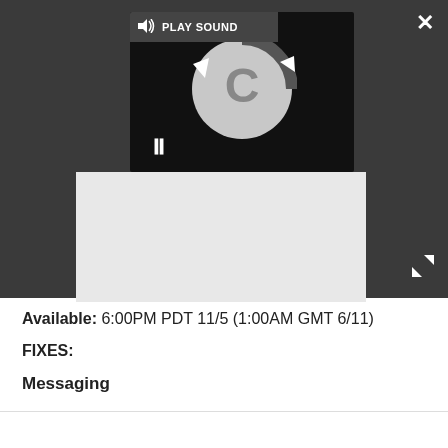[Figure (screenshot): Video player UI with dark toolbar showing PLAY SOUND button, a loading spinner circle with a C shape, pause button (||), and expand/collapse arrows. A light gray content area is visible below the video player within the dark toolbar area.]
Available: 6:00PM PDT 11/5 (1:00AM GMT 6/11)
FIXES:
Messaging